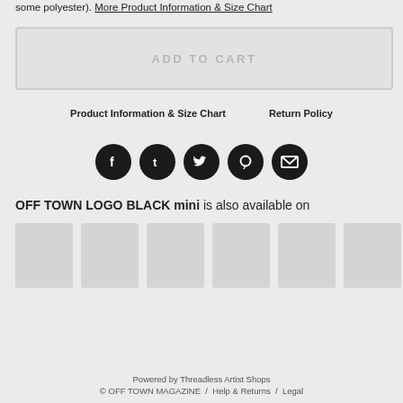some polyester). More Product Information & Size Chart
[Figure (other): ADD TO CART button - large grey rounded rectangle button with greyed out text]
Product Information & Size Chart    Return Policy
[Figure (other): Five social media icons - Facebook, Tumblr, Twitter, Pinterest, Email - dark circular buttons]
OFF TOWN LOGO BLACK mini is also available on
[Figure (other): Row of product thumbnail images - grey placeholder boxes]
Powered by Threadless Artist Shops
© OFF TOWN MAGAZINE / Help & Returns / Legal